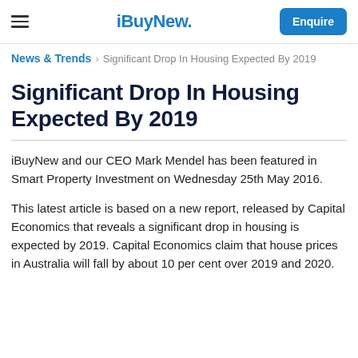iBuyNew. | Enquire
News & Trends > Significant Drop In Housing Expected By 2019
Significant Drop In Housing Expected By 2019
iBuyNew and our CEO Mark Mendel has been featured in Smart Property Investment on Wednesday 25th May 2016.
This latest article is based on a new report, released by Capital Economics that reveals a significant drop in housing is expected by 2019. Capital Economics claim that house prices in Australia will fall by about 10 per cent over 2019 and 2020.